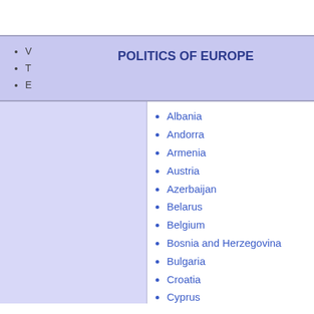V
T
E
POLITICS OF EUROPE
Albania
Andorra
Armenia
Austria
Azerbaijan
Belarus
Belgium
Bosnia and Herzegovina
Bulgaria
Croatia
Cyprus
Czech Republic